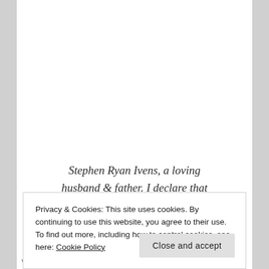Stephen Ryan Ivens, a loving husband & father. I declare that
Privacy & Cookies: This site uses cookies. By continuing to use this website, you agree to their use.
To find out more, including how to control cookies, see here: Cookie Policy
Close and accept
vigil, prayers, Stephen Ivens, Steve